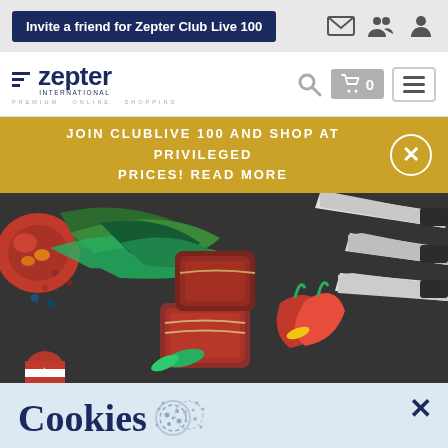Invite a friend for Zepter Club Live 100
[Figure (logo): Zepter International Premium Online Shopping logo]
JOIN CLUBLIVE 100 AND SHOP AT PRIVILEGED PRICES! READ MORE
[Figure (photo): Dark slate surface with meat, vegetables, herbs, and Zepter knives]
Cookies
This website uses "cookies", which serve to make our internet presence overall user friendly, effective and safer for example when